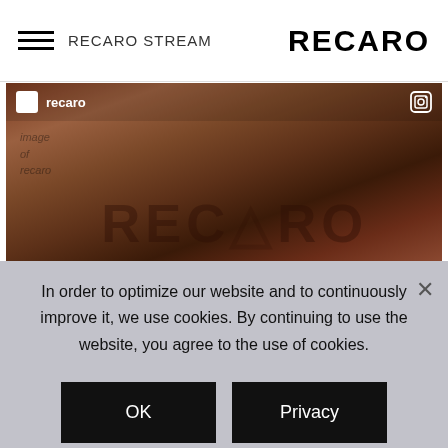RECARO STREAM — RECARO
[Figure (screenshot): Instagram-style image post showing the RECARO logo embossed on fabric/textile material, with a white profile icon, username 'recaro', and Instagram camera icon in the top bar overlay.]
In order to optimize our website and to continuously improve it, we use cookies. By continuing to use the website, you agree to the use of cookies.
OK
Privacy